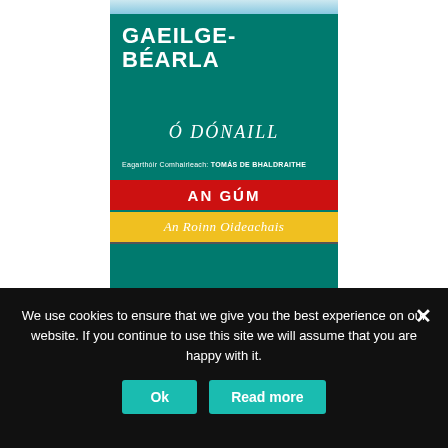[Figure (illustration): Book cover for a Gaeilge-Béarla (Irish-English) dictionary by Ó Dónaill, published by An Gúm / An Roinn Oideachais. Cover has teal/green background with bold white title 'GAEILGE-BÉARLA', author name 'Ó DÓNAILL' in large white italic text, editor credit 'Eagarthóir Comhairleach: TOMÁS DE BHALDRAITHE', red bar with 'AN GÚM' and yellow bar with 'An Roinn Oideachais'.]
We use cookies to ensure that we give you the best experience on our website. If you continue to use this site we will assume that you are happy with it.